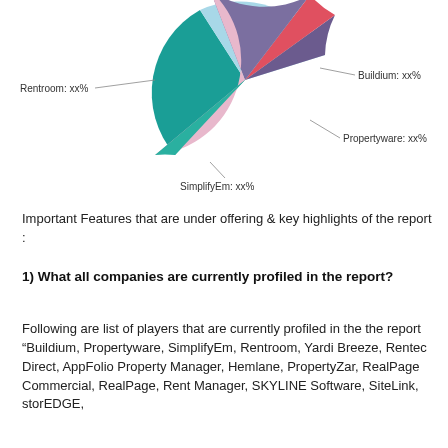[Figure (pie-chart): Market share pie chart]
Important Features that are under offering & key highlights of the report :
1) What all companies are currently profiled in the report?
Following are list of players that are currently profiled in the the report "Buildium, Propertyware, SimplifyEm, Rentroom, Yardi Breeze, Rentec Direct, AppFolio Property Manager, Hemlane, PropertyZar, RealPage Commercial, RealPage, Rent Manager, SKYLINE Software, SiteLink, storEDGE,